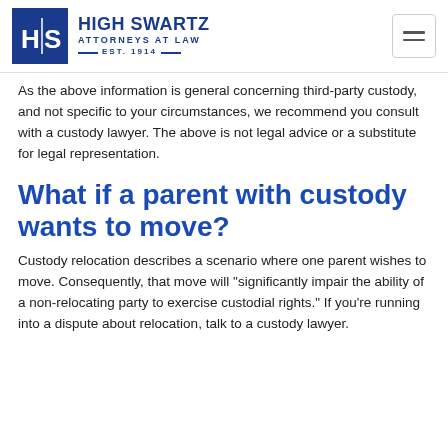High Swartz Attorneys at Law Est. 1914
As the above information is general concerning third-party custody, and not specific to your circumstances, we recommend you consult with a custody lawyer. The above is not legal advice or a substitute for legal representation.
What if a parent with custody wants to move?
Custody relocation describes a scenario where one parent wishes to move. Consequently, that move will "significantly impair the ability of a non-relocating party to exercise custodial rights." If you're running into a dispute about relocation, talk to a custody lawyer.